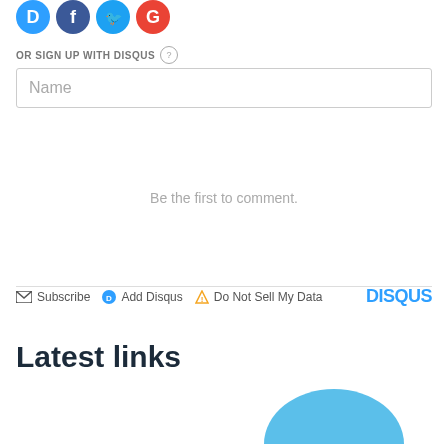[Figure (infographic): Social login icons: Disqus (blue D), Facebook (blue circle with f), Twitter (blue circle with bird), Google (red circle with G)]
OR SIGN UP WITH DISQUS ?
Name
Be the first to comment.
Subscribe  Add Disqus  Do Not Sell My Data  DISQUS
Latest links
[Figure (illustration): Partial blue rounded shape visible at bottom right of page]